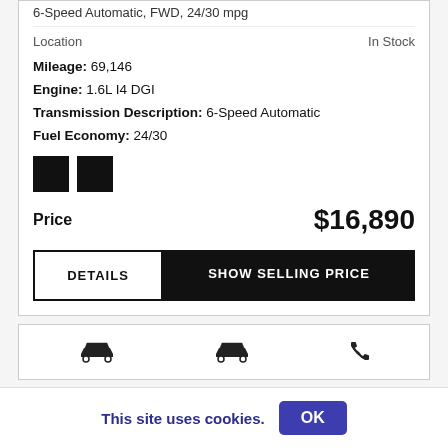6-Speed Automatic, FWD, 24/30 mpg
Location   In Stock
Mileage: 69,146
Engine: 1.6L I4 DGI
Transmission Description: 6-Speed Automatic
Fuel Economy: 24/30
[Figure (other): Two black color swatch squares]
Price   $16,890
DETAILS   SHOW SELLING PRICE
[Figure (other): Car listing card with car icons and phone icon]
This site uses cookies.   OK